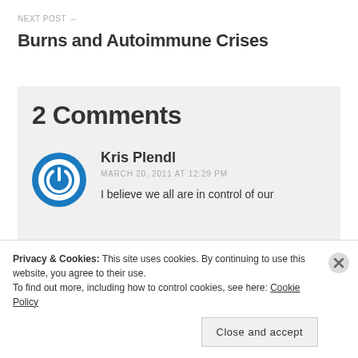NEXT POST →
Burns and Autoimmune Crises
2 Comments
Kris Plendl
MARCH 20, 2011 AT 12:29 PM
I believe we all are in control of our
Privacy & Cookies: This site uses cookies. By continuing to use this website, you agree to their use.
To find out more, including how to control cookies, see here: Cookie Policy
Close and accept